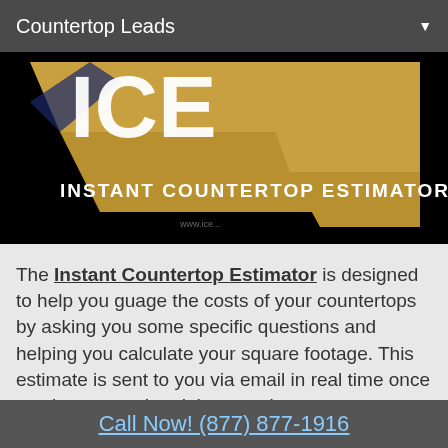Countertop Leads
[Figure (photo): ICE Instant Countertop Estimator logo/banner image with large white ICE letters on gold and black background]
The Instant Countertop Estimator is designed to help you guage the costs of your countertops by asking you some specific questions and helping you calculate your square footage. This estimate is sent to you via email in real time once you have completed the questions.
Call Now! (877) 877-1916